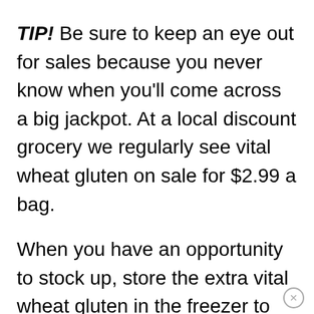TIP! Be sure to keep an eye out for sales because you never know when you'll come across a big jackpot. At a local discount grocery we regularly see vital wheat gluten on sale for $2.99 a bag.
When you have an opportunity to stock up, store the extra vital wheat gluten in the freezer to extend its shelf life.